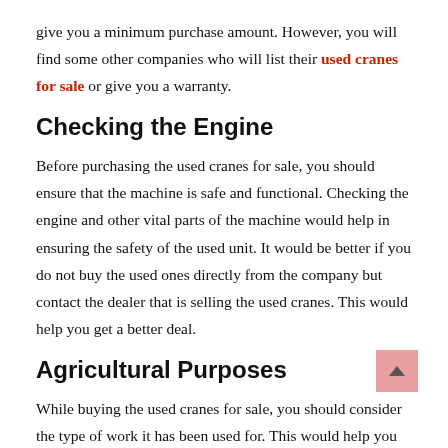give you a minimum purchase amount. However, you will find some other companies who will list their used cranes for sale or give you a warranty.
Checking the Engine
Before purchasing the used cranes for sale, you should ensure that the machine is safe and functional. Checking the engine and other vital parts of the machine would help in ensuring the safety of the used unit. It would be better if you do not buy the used ones directly from the company but contact the dealer that is selling the used cranes. This would help you get a better deal.
Agricultural Purposes
While buying the used cranes for sale, you should consider the type of work it has been used for. This would help you